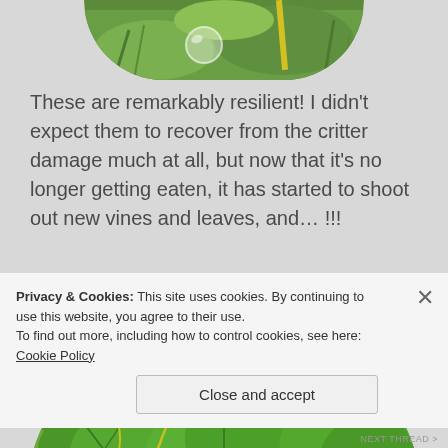[Figure (photo): Partial top of a circular cropped photo showing green plants/grass with a yellow stake and clear orb visible]
These are remarkably resilient! I didn't expect them to recover from the critter damage much at all, but now that it's no longer getting eaten, it has started to shoot out new vines and leaves, and… !!!
[Figure (photo): Circular cropped photo showing large green squash or melon leaves growing inside a wire cage/fence on grass]
Privacy & Cookies: This site uses cookies. By continuing to use this website, you agree to their use.
To find out more, including how to control cookies, see here: Cookie Policy
Close and accept